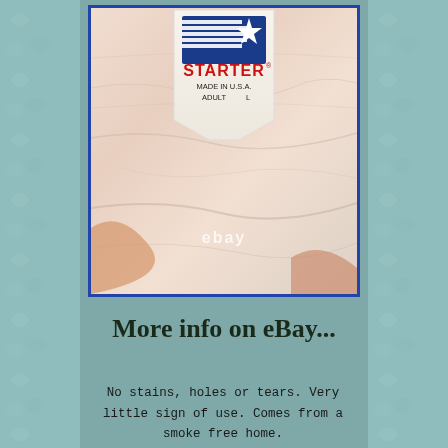[Figure (photo): Close-up photo of a white quilted fabric jacket showing a Starter brand label. The label reads STARTER® MADE IN U.S.A. ADULT L. Photo has an eBay watermark.]
More info on eBay...
No stains, holes or tears. Very little sign of use. Comes from a smoke free home.